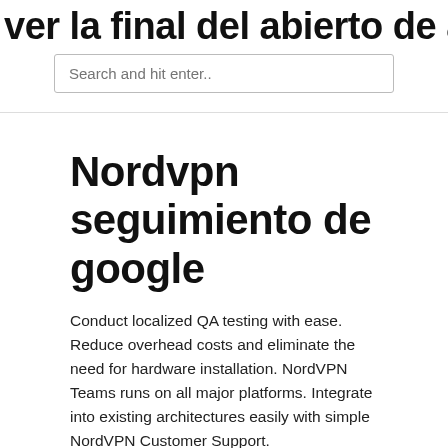ver la final del abierto de australia en
Search and hit enter..
Nordvpn seguimiento de google
Conduct localized QA testing with ease. Reduce overhead costs and eliminate the need for hardware installation. NordVPN Teams runs on all major platforms. Integrate into existing architectures easily with simple NordVPN Customer Support.
Opinión / Reseña NordVPN
NordVPN es un proveedor de servicios de red privada virtual personal.